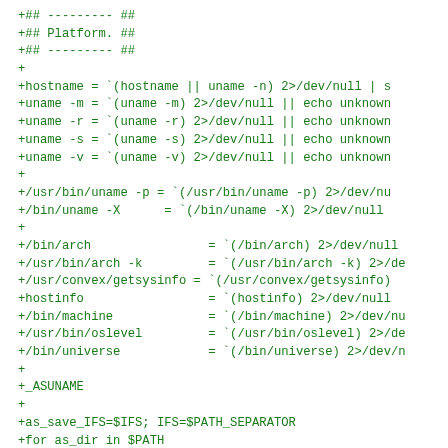+## --------- ##
+## Platform. ##
+## --------- ##
+
+hostname = `(hostname || uname -n) 2>/dev/null | s
+uname -m = `(uname -m) 2>/dev/null || echo unknown
+uname -r = `(uname -r) 2>/dev/null || echo unknown
+uname -s = `(uname -s) 2>/dev/null || echo unknown
+uname -v = `(uname -v) 2>/dev/null || echo unknown
+
+/usr/bin/uname -p = `(/usr/bin/uname -p) 2>/dev/nu
+/bin/uname -X      = `(/bin/uname -X) 2>/dev/null
+
+/bin/arch                = `(/bin/arch) 2>/dev/null
+/usr/bin/arch -k         = `(/usr/bin/arch -k) 2>/de
+/usr/convex/getsysinfo = `(/usr/convex/getsysinfo)
+hostinfo                 = `(hostinfo) 2>/dev/null
+/bin/machine             = `(/bin/machine) 2>/dev/nu
+/usr/bin/oslevel         = `(/usr/bin/oslevel) 2>/de
+/bin/universe            = `(/bin/universe) 2>/dev/n
+
+_ASUNAME
+
+as_save_IFS=$IFS; IFS=$PATH_SEPARATOR
+for as_dir in $PATH
+do
+  IFS=$as_save_IFS
+  test -z "$as_dir" && as_dir=.
+  echo "PATH: $as_dir"
+done